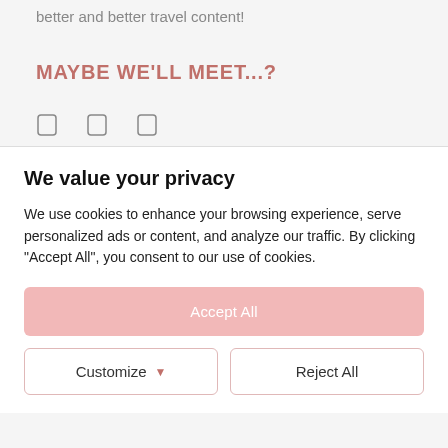better and better travel content!
MAYBE WE'LL MEET...?
[Figure (other): Three small social media icon placeholders arranged horizontally]
We value your privacy
We use cookies to enhance your browsing experience, serve personalized ads or content, and analyze our traffic. By clicking "Accept All", you consent to our use of cookies.
Accept All
Customize
Reject All